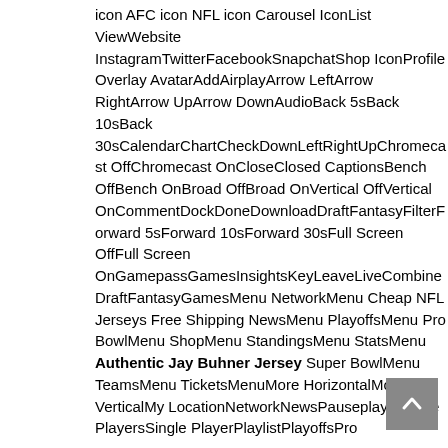icon AFC icon NFL icon Carousel IconList ViewWebsite InstagramTwitterFacebookSnapchatShop IconProfile Overlay AvatarAddAirplayArrow LeftArrow RightArrow UpArrow DownAudioBack 5sBack 10sBack 30sCalendarChartCheckDownLeftRightUpChromecast OffChromecast OnCloseClosed CaptionsBench OffBench OnBroad OffBroad OnVertical OffVertical OnCommentDockDoneDownloadDraftFantasyFilterForward 5sForward 10sForward 30sFull Screen OffFull Screen OnGamepassGamesInsightsKeyLeaveLiveCombineDraftFantasy GamesMenu NetworkMenu Cheap NFL Jerseys Free Shipping NewsMenu PlayoffsMenu Pro BowlMenu ShopMenu StandingsMenu StatsMenu Authentic Jay Buhner Jersey Super BowlMenu TeamsMenu TicketsMenuMore HorizontalMore VerticalMy LocationNetworkNewsPauseplayMultiple PlayersSingle PlayerPlaylistPlayoffsPro